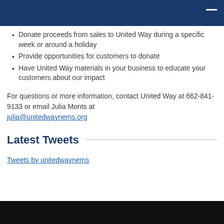Donate proceeds from sales to United Way during a specific week or around a holiday
Provide opportunities for customers to donate
Have United Way materials in your business to educate your customers about our impact
For questions or more information, contact United Way at 662-841-9133 or email Julia Monts at julia@unitedwaynems.org
Latest Tweets
Tweets by unitedwaynems